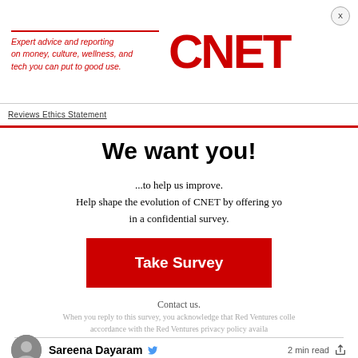[Figure (logo): CNET advertisement banner with red italic tagline text and bold red CNET logo]
Reviews Ethics Statement
We want you!
...to help us improve.
Help shape the evolution of CNET by offering your thoughts in a confidential survey.
[Figure (other): Red Take Survey button]
Contact us.
When you reply to this survey, you acknowledge that Red Ventures collects your data in accordance with the Red Ventures privacy policy available
Sareena Dayaram  2 min read